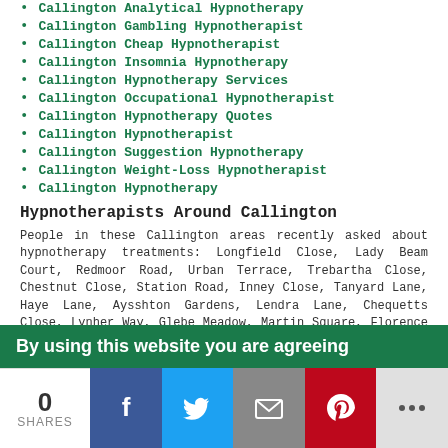Callington Analytical Hypnotherapy
Callington Gambling Hypnotherapist
Callington Cheap Hypnotherapist
Callington Insomnia Hypnotherapy
Callington Hypnotherapy Services
Callington Occupational Hypnotherapist
Callington Hypnotherapy Quotes
Callington Hypnotherapist
Callington Suggestion Hypnotherapy
Callington Weight-Loss Hypnotherapist
Callington Hypnotherapy
Hypnotherapists Around Callington
People in these Callington areas recently asked about hypnotherapy treatments: Longfield Close, Lady Beam Court, Redmoor Road, Urban Terrace, Trebartha Close, Chestnut Close, Station Road, Inney Close, Tanyard Lane, Haye Lane, Aysshton Gardens, Lendra Lane, Chequetts Close, Lynher Way, Glebe Meadow, Martin Square, Florence Hill, Tillie Street, Boconnoc Avenue, Wilkinson Close, Colmers Lane, Mowhay Lane, Bara Place, Godolphin Park, Biscombes Lane, Elm Close, Haye Road, Windsor Lane, as well as folks with the following postcodes: PL17 7HQ, PL17 7JD, PL17 7FG, PL17
By using this website you are agreeing